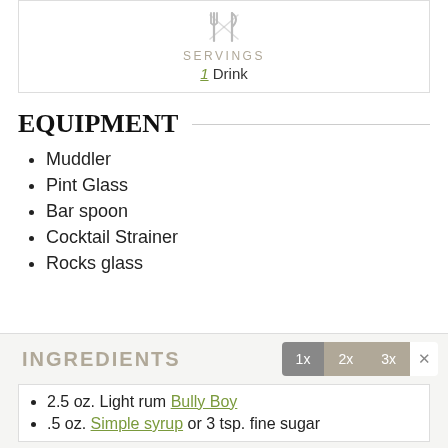[Figure (illustration): Fork and knife crossed icon in gray]
SERVINGS
1 Drink
EQUIPMENT
Muddler
Pint Glass
Bar spoon
Cocktail Strainer
Rocks glass
INGREDIENTS
2.5 oz. Light rum Bully Boy
.5 oz. Simple syrup or 3 tsp. fine sugar